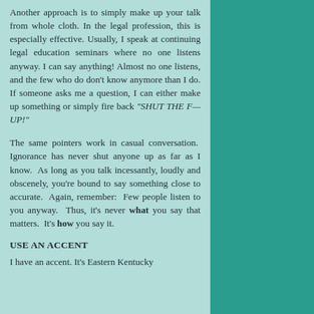Another approach is to simply make up your talk from whole cloth. In the legal profession, this is especially effective. Usually, I speak at continuing legal education seminars where no one listens anyway. I can say anything! Almost no one listens, and the few who do don't know anymore than I do. If someone asks me a question, I can either make up something or simply fire back "SHUT THE F— UP!"
The same pointers work in casual conversation.  Ignorance has never shut anyone up as far as I know.  As long as you talk incessantly, loudly and obscenely, you're bound to say something close to accurate.  Again, remember:  Few people listen to you anyway.  Thus, it's never what you say that matters.  It's how you say it.
USE AN ACCENT
I have an accent. It's Eastern Kentucky